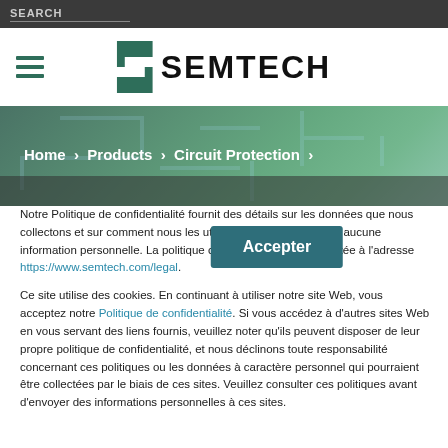SEARCH
[Figure (logo): Semtech logo with stylized S and SEMTECH text]
[Figure (screenshot): Breadcrumb navigation banner over circuit board background: Home > Products > Circuit Protection >]
Notre Politique de confidentialité fournit des détails sur les données que nous collectons et sur comment nous les utilisons. Nous ne vendons aucune information personnelle. La politique complète peut être consultée à l'adresse https://www.semtech.com/legal.
Ce site utilise des cookies. En continuant à utiliser notre site Web, vous acceptez notre Politique de confidentialité. Si vous accédez à d'autres sites Web en vous servant des liens fournis, veuillez noter qu'ils peuvent disposer de leur propre politique de confidentialité, et nous déclinons toute responsabilité concernant ces politiques ou les données à caractère personnel qui pourraient être collectées par le biais de ces sites. Veuillez consulter ces politiques avant d'envoyer des informations personnelles à ces sites.